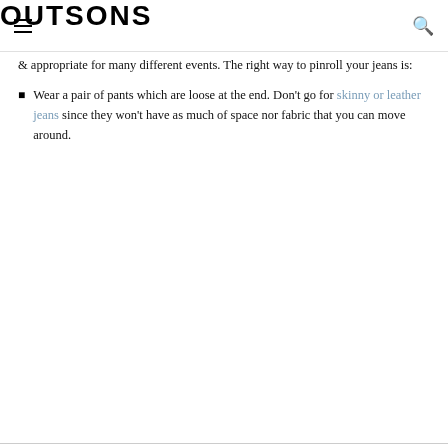OUTSONS
& appropriate for many different events. The right way to pinroll your jeans is:
Wear a pair of pants which are loose at the end. Don't go for skinny or leather jeans since they won't have as much of space nor fabric that you can move around.